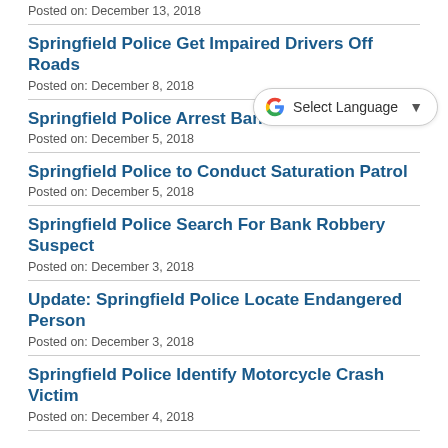Posted on: December 13, 2018
Springfield Police Get Impaired Drivers Off Roads
Posted on: December 8, 2018
Springfield Police Arrest Bank Rob...
Posted on: December 5, 2018
Springfield Police to Conduct Saturation Patrol
Posted on: December 5, 2018
Springfield Police Search For Bank Robbery Suspect
Posted on: December 3, 2018
Update: Springfield Police Locate Endangered Person
Posted on: December 3, 2018
Springfield Police Identify Motorcycle Crash Victim
Posted on: December 4, 2018